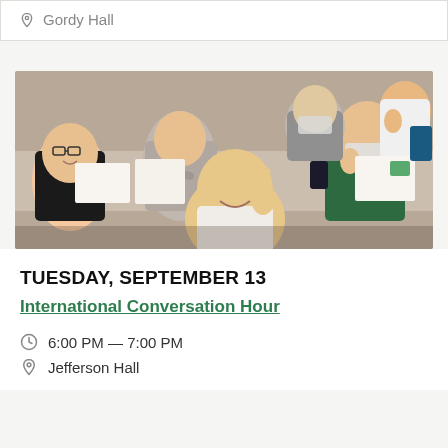Gordy Hall
[Figure (photo): Students sitting around a classroom table, smiling and making peace signs and thumbs up gestures at the camera. A young woman in the foreground makes a peace sign; others smile in the background. Some students wear masks.]
TUESDAY, SEPTEMBER 13
International Conversation Hour
6:00 PM — 7:00 PM
Jefferson Hall